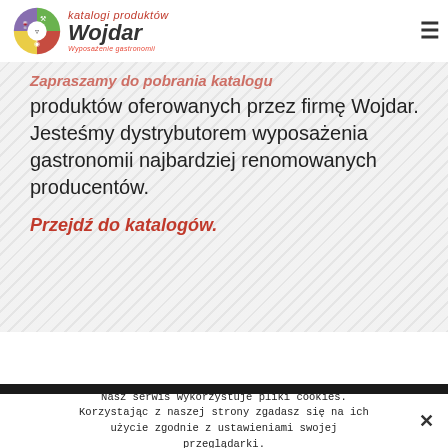[Figure (logo): Wojdar logo with colorful circular icon (green, purple, yellow, red segments with fork, wine glass, spoon), italic Wojdar text in dark color, red italic subtitle 'Wyposażenie gastronomii', and red italic text 'katalogi produktów' above]
Zapraszamy do pobrania katalogu produktów oferowanych przez firmę Wojdar. Jesteśmy dystrybutorem wyposażenia gastronomii najbardziej renomowanych producentów.
Przejdź do katalogów.
Nasz serwis wykorzystuje pliki cookies. Korzystając z naszej strony zgadasz się na ich użycie zgodnie z ustawieniami swojej przeglądarki.